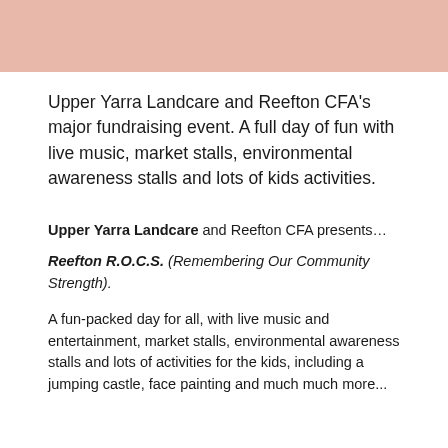[Figure (other): Salmon/peach colored decorative header banner]
Upper Yarra Landcare and Reefton CFA's major fundraising event. A full day of fun with live music, market stalls, environmental awareness stalls and lots of kids activities.
Upper Yarra Landcare and Reefton CFA presents...
Reefton R.O.C.S. (Remembering Our Community Strength).
A fun-packed day for all, with live music and entertainment, market stalls, environmental awareness stalls and lots of activities for the kids, including a jumping castle, face painting and much much more...